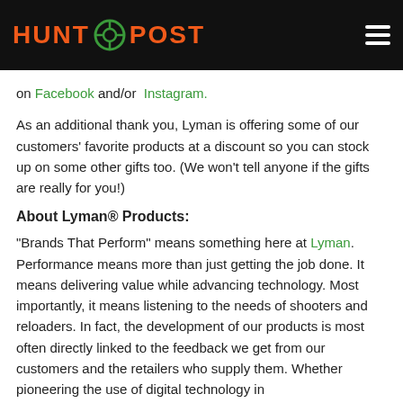HUNT POST
on Facebook and/or Instagram.
As an additional thank you, Lyman is offering some of our customers' favorite products at a discount so you can stock up on some other gifts too. (We won't tell anyone if the gifts are really for you!)
About Lyman® Products:
“Brands That Perform” means something here at Lyman. Performance means more than just getting the job done. It means delivering value while advancing technology. Most importantly, it means listening to the needs of shooters and reloaders. In fact, the development of our products is most often directly linked to the feedback we get from our customers and the retailers who supply them. Whether pioneering the use of digital technology in